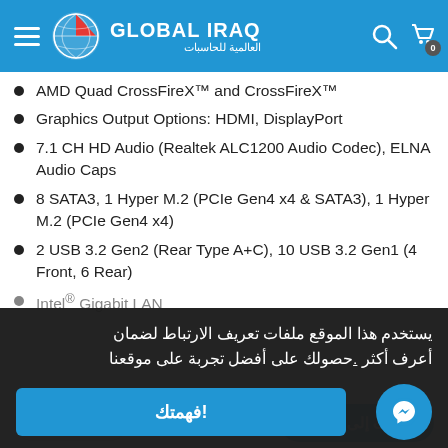GLOBAL IRAQ — العالمية للحاسبات
AMD Quad CrossFireX™ and CrossFireX™
Graphics Output Options: HDMI, DisplayPort
7.1 CH HD Audio (Realtek ALC1200 Audio Codec), ELNA Audio Caps
8 SATA3, 1 Hyper M.2 (PCIe Gen4 x4 & SATA3), 1 Hyper M.2 (PCIe Gen4 x4)
2 USB 3.2 Gen2 (Rear Type A+C), 10 USB 3.2 Gen1 (4 Front, 6 Rear)
Intel® Gigabit LAN
يستخدم هذا الموقع ملفات تعريف الارتباط لضمان أعرف أكثر .حصولك على أفضل تجربة على موقعنا
!فهمتك
$175.00